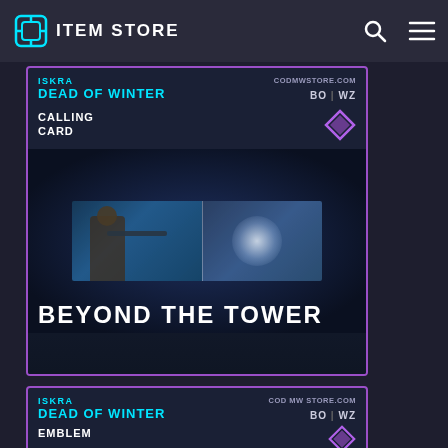ITEM STORE
[Figure (screenshot): Game item store card for ISKRA - DEAD OF WINTER bundle, Calling Card item. Shows 'BEYOND THE TOWER' calling card with winter sniper scene. Purple diamond rarity icon. BO | WZ platform tags. CODMWSTORE.COM watermark.]
[Figure (screenshot): Game item store card for ISKRA - DEAD OF WINTER bundle, Emblem item. Purple diamond rarity icon. BO | WZ platform tags. CODMWSTORE.COM watermark.]